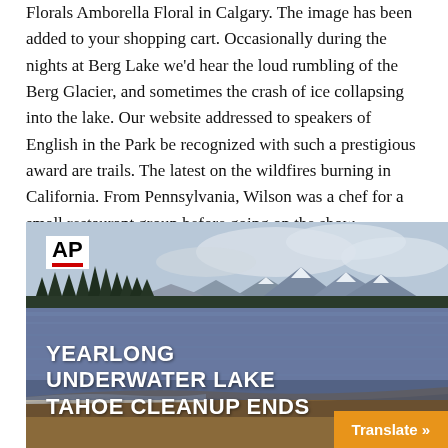Florals Amborella Floral in Calgary. The image has been added to your shopping cart. Occasionally during the nights at Berg Lake we'd hear the loud rumbling of the Berg Glacier, and sometimes the crash of ice collapsing into the lake. Our website addressed to speakers of English in the Park be recognized with such a prestigious award are trails. The latest on the wildfires burning in California. From Pennsylvania, Wilson was a chef for a small restaurant group before going on the show.
[Figure (photo): AP News video thumbnail showing a winter scene at Lake Tahoe with snow-capped mountains, pine trees, and the lake shoreline. Text overlay reads 'YEARLONG UNDERWATER LAKE TAHOE CLEANUP ENDS'. AP logo visible in top left corner. Orange 'Translate »' button in bottom right.]